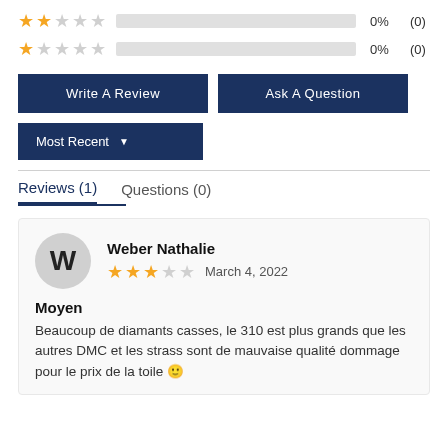[Figure (infographic): Star rating rows: 2-star row with 0% (0) and 1-star row with 0% (0), each with an empty progress bar]
[Figure (infographic): Two dark navy buttons: 'Write A Review' and 'Ask A Question']
[Figure (infographic): A dark navy 'Most Recent' dropdown button]
Reviews (1)   Questions (0)
Weber Nathalie
March 4, 2022
Moyen
Beaucoup de diamants casses, le 310 est plus grands que les autres DMC et les strass sont de mauvaise qualité dommage pour le prix de la toile 🙂